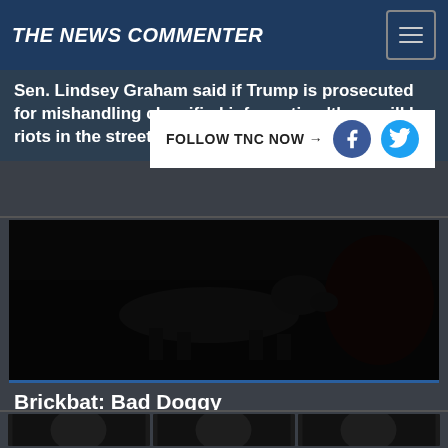THE NEWS COMMENTER
Sen. Lindsey Graham said if Trump is prosecuted for mishandling classified information 'there will be riots in the streets
FOLLOW TNC NOW →
[Figure (photo): Dark image of a dog jumping or leaping, with a person visible in background, very low light/dark scene]
Brickbat: Bad Doggy
[Figure (photo): Bottom row of three dark thumbnail photos, partially visible at page bottom]